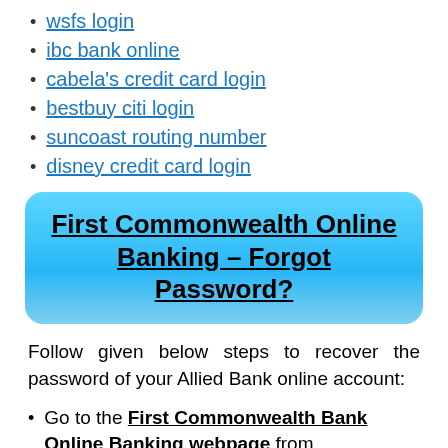wsfs login
ibc bank online
cabela's credit card login
bestbuy citi login
suncoast routing number
disney credit card login
First Commonwealth Online Banking – Forgot Password?
Follow given below steps to recover the password of your Allied Bank online account:
Go to the First Commonwealth Bank Online Banking webpage from